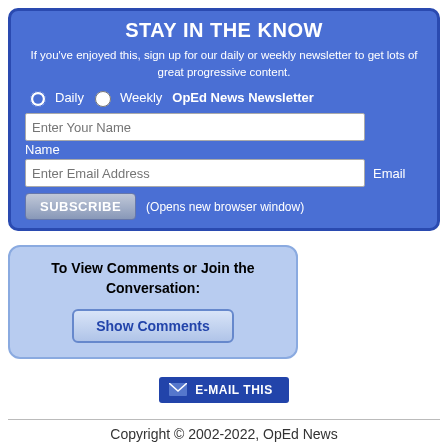STAY IN THE KNOW
If you've enjoyed this, sign up for our daily or weekly newsletter to get lots of great progressive content.
Daily  Weekly  OpEd News Newsletter
Enter Your Name  Name
Enter Email Address  Email
SUBSCRIBE  (Opens new browser window)
To View Comments or Join the Conversation:
Show Comments
E-MAIL THIS
Copyright © 2002-2022, OpEd News
Powered by Populum